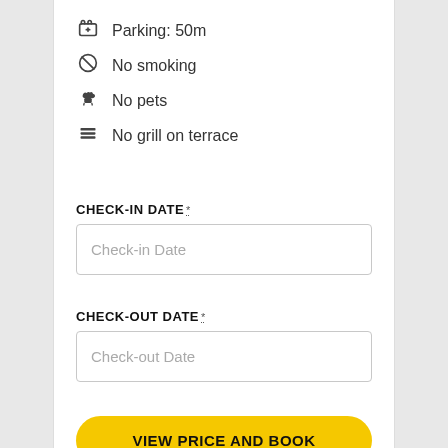Parking: 50m
No smoking
No pets
No grill on terrace
CHECK-IN DATE *
Check-in Date
CHECK-OUT DATE *
Check-out Date
VIEW PRICE AND BOOK
ASK US A QUESTION